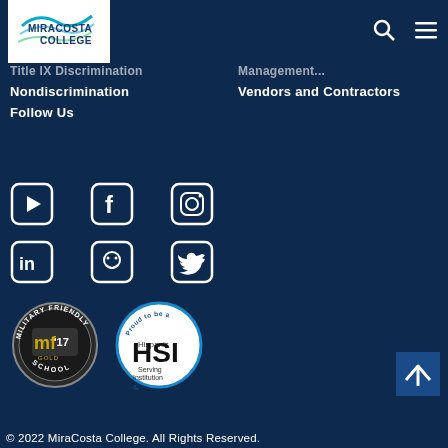[Figure (logo): MiraCosta College logo on white background with search and hamburger menu icons]
Title IX Discrimination
Nondiscrimination
Management...
Vendors and Contractors
Follow Us
[Figure (infographic): Social media icons: YouTube, Facebook, Instagram, LinkedIn, Smile (Yelp-style), Twitter arranged in two rows]
[Figure (infographic): Military Friendly School MF'17 Gold badge and Proud to be a Hispanic HSI Serving Institution MiraCosta College badge]
[Figure (other): Back to top arrow button]
© 2022 MiraCosta College. All Rights Reserved.